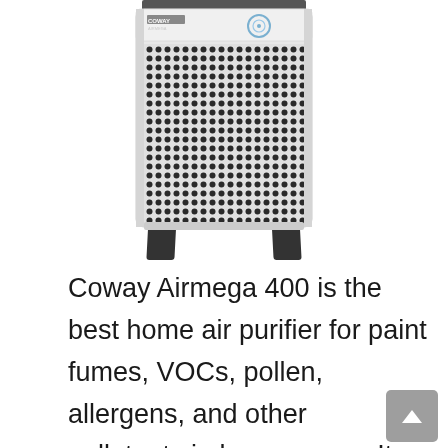[Figure (photo): Coway Airmega 400 air purifier — a white rectangular unit with a perforated dot-pattern front panel, a circular control dial near the top, brand label at top-left of the panel, and two black angled legs at the bottom. The top edge of the unit is partially cropped.]
Coway Airmega 400 is the best home air purifier for paint fumes, VOCs, pollen, allergens, and other pollutants in large rooms. It covers rooms of up